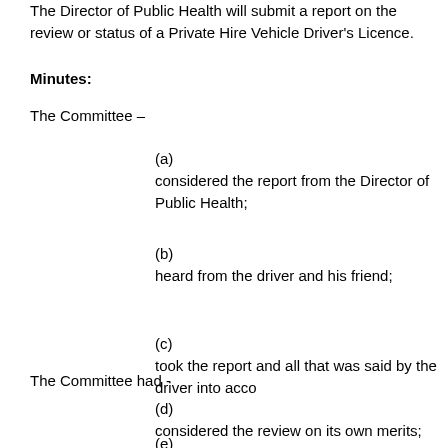The Director of Public Health will submit a report on the review or status of a Private Hire Vehicle Driver's Licence.
Minutes:
The Committee –
(a) considered the report from the Director of Public Health;
(b) heard from the driver and his friend;
(c) took the report and all that was said by the driver into acco
The Committee had -
(d) considered the review on its own merits;
(e)